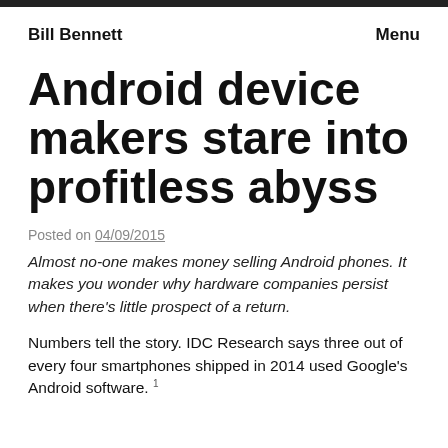Bill Bennett   Menu
Android device makers stare into profitless abyss
Posted on 04/09/2015
Almost no-one makes money selling Android phones. It makes you wonder why hardware companies persist when there's little prospect of a return.
Numbers tell the story. IDC Research says three out of every four smartphones shipped in 2014 used Google's Android software. 1